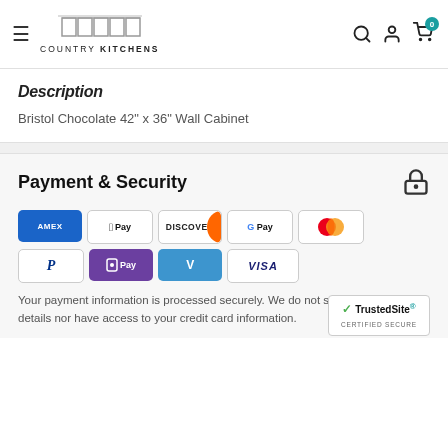Country Kitchens
Description
Bristol Chocolate 42" x 36" Wall Cabinet
Payment & Security
[Figure (logo): Payment method logos: American Express, Apple Pay, Discover, Google Pay, Mastercard, PayPal, OPay, Venmo, Visa]
Your payment information is processed securely. We do not store credit card details nor have access to your credit card information.
[Figure (logo): TrustedSite Certified Secure badge]